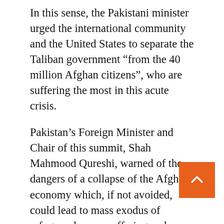In this sense, the Pakistani minister urged the international community and the United States to separate the Taliban government “from the 40 million Afghan citizens”, who are suffering the most in this acute crisis.
Pakistan’s Foreign Minister and Chair of this summit, Shah Mahmood Qureshi, warned of the dangers of a collapse of the Afghan economy which, if not avoided, could lead to mass exodus of refugees, human suffering and an increase in terrorism that would affect the world. Hello.
Qureshi stressed that “the Afghan economy is likely to contract by 30% in one year unless the tide is curbed.”
The minister also identified that the Afghan na needs the cash to revitalize the economy, pay